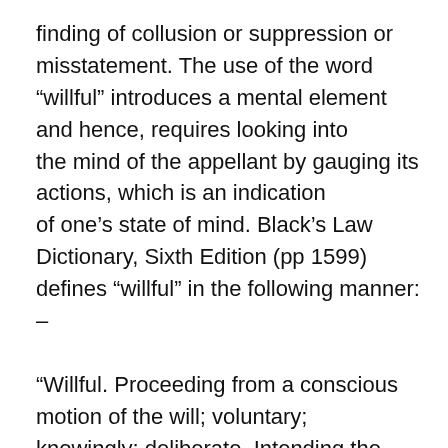finding of collusion or suppression or misstatement. The use of the word “willful” introduces a mental element and hence, requires looking into the mind of the appellant by gauging its actions, which is an indication of one’s state of mind. Black’s Law Dictionary, Sixth Edition (pp 1599) defines “willful” in the following manner: –
“Willful. Proceeding from a conscious motion of the will; voluntary; knowingly; deliberate. Intending the result which actually comes to pass…